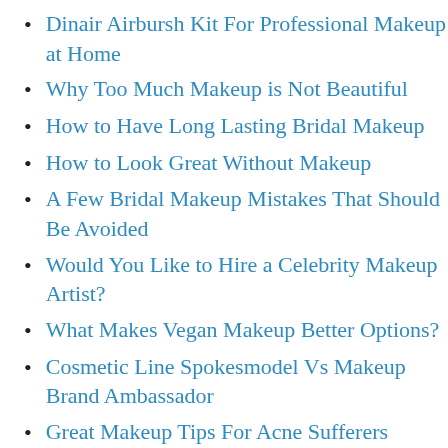Dinair Airbursh Kit For Professional Makeup at Home
Why Too Much Makeup is Not Beautiful
How to Have Long Lasting Bridal Makeup
How to Look Great Without Makeup
A Few Bridal Makeup Mistakes That Should Be Avoided
Would You Like to Hire a Celebrity Makeup Artist?
What Makes Vegan Makeup Better Options?
Cosmetic Line Spokesmodel Vs Makeup Brand Ambassador
Great Makeup Tips For Acne Sufferers
Look Like A Beauty Queen With Cheap Makeup Kits
Applying Makeup With Simplicity And Style
Office to Party: How to Easily Transition